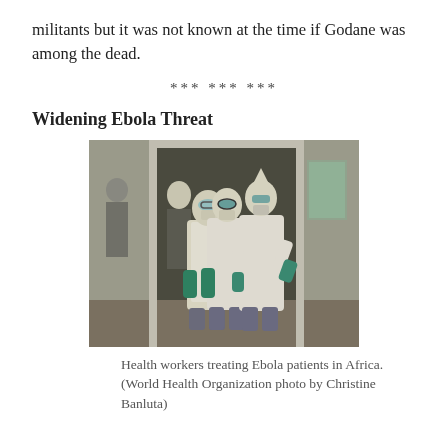militants but it was not known at the time if Godane was among the dead.
*** *** ***
Widening Ebola Threat
[Figure (photo): Health workers in full protective gear (white gowns, green gloves, goggles/masks) standing in a doorway, treating Ebola patients in Africa.]
Health workers treating Ebola patients in Africa. (World Health Organization photo by Christine Banluta)